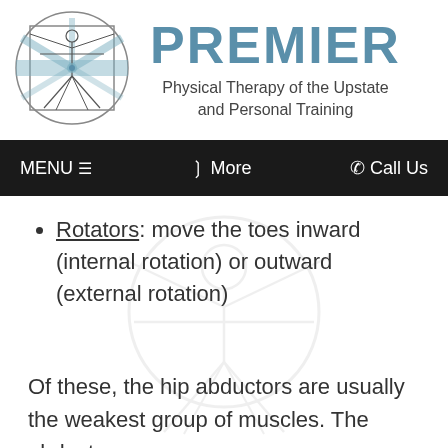[Figure (logo): Premier Physical Therapy of the Upstate and Personal Training logo with Vitruvian man illustration in a circle]
PREMIER Physical Therapy of the Upstate and Personal Training
MENU ≡   ❯ More   ☎ Call Us
Rotators: move the toes inward (internal rotation) or outward (external rotation)
Of these, the hip abductors are usually the weakest group of muscles. The abductors are